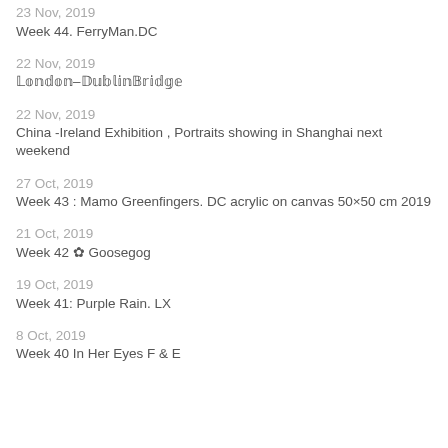23 Nov, 2019
Week 44. FerryMan.DC
22 Nov, 2019
𝕃𝕠𝕟𝕕𝕠𝕟–𝔻𝕦𝕓𝕝𝕚𝕟𝔹𝕣𝕚𝕕𝕘𝕖
22 Nov, 2019
China -Ireland Exhibition , Portraits showing in Shanghai next weekend
27 Oct, 2019
Week 43 : Mamo Greenfingers. DC acrylic on canvas 50×50 cm 2019
21 Oct, 2019
Week 42 ✿ Goosegog
19 Oct, 2019
Week 41: Purple Rain. LX
8 Oct, 2019
Week 40 In Her Eyes F & E